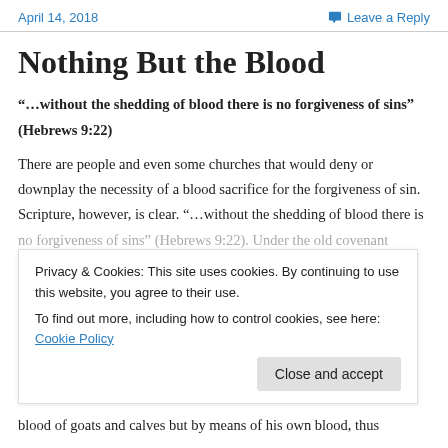April 14, 2018   Leave a Reply
Nothing But the Blood
“…without the shedding of blood there is no forgiveness of sins” (Hebrews 9:22)
There are people and even some churches that would deny or downplay the necessity of a blood sacrifice for the forgiveness of sin. Scripture, however, is clear. “…without the shedding of blood there is no forgiveness of sins” (Hebrews 9:22). Under the old covenant
Privacy & Cookies: This site uses cookies. By continuing to use this website, you agree to their use.
To find out more, including how to control cookies, see here: Cookie Policy
blood of goats and calves but by means of his own blood, thus